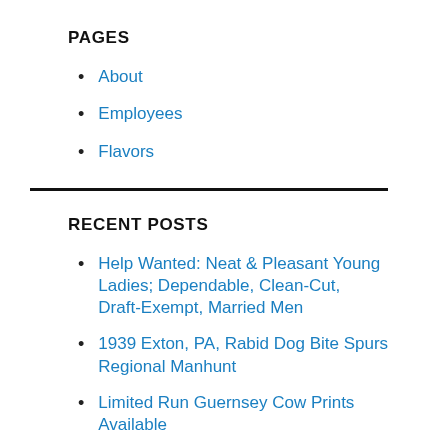PAGES
About
Employees
Flavors
RECENT POSTS
Help Wanted: Neat & Pleasant Young Ladies; Dependable, Clean-Cut, Draft-Exempt, Married Men
1939 Exton, PA, Rabid Dog Bite Spurs Regional Manhunt
Limited Run Guernsey Cow Prints Available